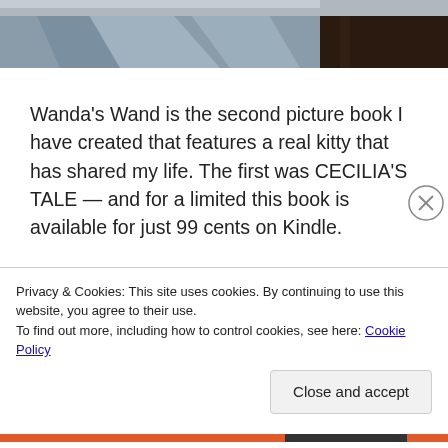[Figure (photo): Partial photo showing a blue/grey fabric or bedding against a dark wooden surface, cropped at the top of the page]
Wanda's Wand is the second picture book I have created that features a real kitty that has shared my life. The first was CECILIA'S TALE — and for a limited this book is available for just 99 cents on Kindle.
Privacy & Cookies: This site uses cookies. By continuing to use this website, you agree to their use.
To find out more, including how to control cookies, see here: Cookie Policy
Close and accept